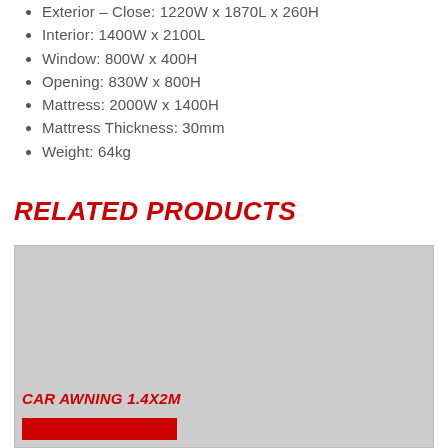Exterior – Close: 1220W x 1870L x 260H
Interior: 1400W x 2100L
Window: 800W x 400H
Opening: 830W x 800H
Mattress: 2000W x 1400H
Mattress Thickness: 30mm
Weight: 64kg
RELATED PRODUCTS
[Figure (photo): Product image placeholder (grey box) for a related product]
CAR AWNING 1.4X2M